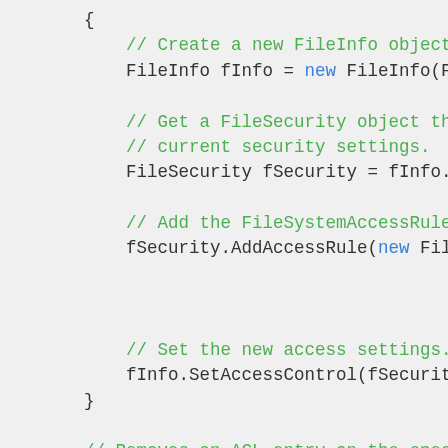[Figure (screenshot): Code snippet showing C# methods for file security. Shows creation of FileInfo object, getting FileSecurity object, adding FileSystemAccessRule, setting access control, and beginning of RemoveFileSecurity method with similar structure.]